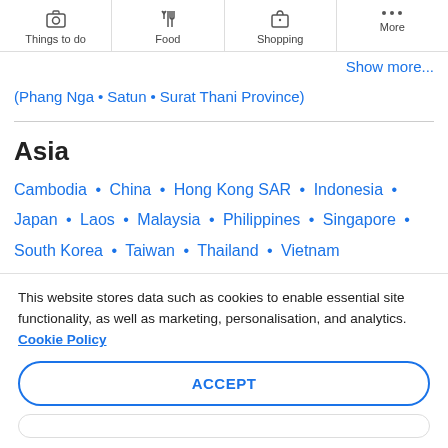[Figure (screenshot): Navigation bar with icons: Things to do (camera icon), Food (fork/knife icon), Shopping (bag icon), More (three dots icon)]
Show more...
(Phang Nga • Satun • Surat Thani Province)
Asia
Cambodia • China • Hong Kong SAR • Indonesia • Japan • Laos • Malaysia • Philippines • Singapore • South Korea • Taiwan • Thailand • Vietnam
This website stores data such as cookies to enable essential site functionality, as well as marketing, personalisation, and analytics. Cookie Policy
ACCEPT